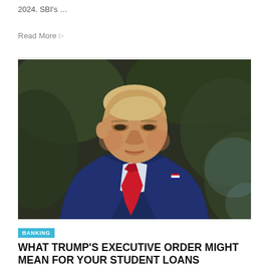2024. SBI's …
Read More ▷
[Figure (photo): Close-up photo of Donald Trump in a blue suit and red tie, outdoors with blurred green foliage in background]
BANKING
WHAT TRUMP'S EXECUTIVE ORDER MIGHT MEAN FOR YOUR STUDENT LOANS